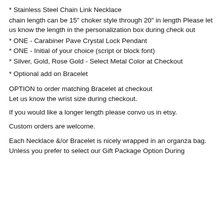* Stainless Steel Chain Link Necklace
chain length can be 15" choker style through 20" in length Please let us know the length in the personalization box during check out
* ONE - Carabiner Pave Crystal Lock Pendant
* ONE - Initial of your choice (script or block font)
* Silver, Gold, Rose Gold - Select Metal Color at Checkout
* Optional add on Bracelet
OPTION to order matching Bracelet at checkout
Let us know the wrist size during checkout.
If you would like a longer length please convo us in etsy.
Custom orders are welcome.
Each Necklace &/or Bracelet is nicely wrapped in an organza bag.
Unless you prefer to select our Gift Package Option During